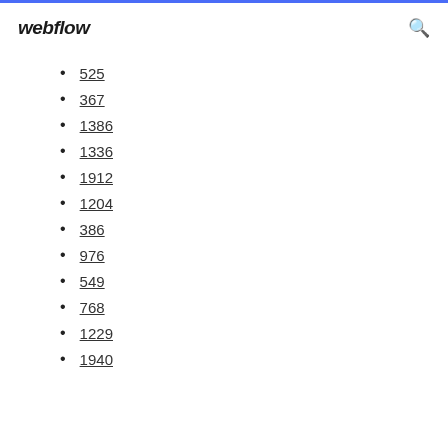webflow
525
367
1386
1336
1912
1204
386
976
549
768
1229
1940